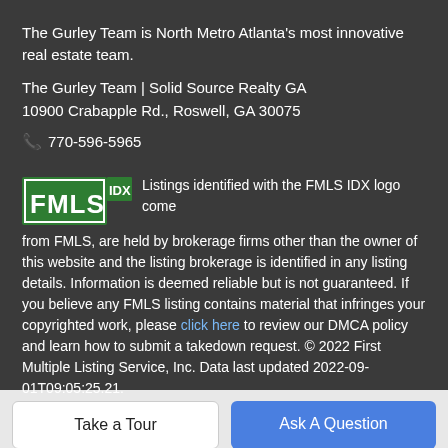The Gurley Team is North Metro Atlanta's most innovative real estate team.
The Gurley Team | Solid Source Realty GA
10900 Crabapple Rd., Roswell, GA 30075
📞 770-596-5965
Listings identified with the FMLS IDX logo come from FMLS, are held by brokerage firms other than the owner of this website and the listing brokerage is identified in any listing details. Information is deemed reliable but is not guaranteed. If you believe any FMLS listing contains material that infringes your copyrighted work, please click here to review our DMCA policy and learn how to submit a takedown request. © 2022 First Multiple Listing Service, Inc. Data last updated 2022-09-01T09:05:25.21.
Take a Tour
Ask A Question